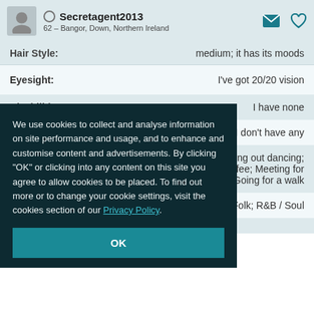Secretagent2013 — 62 – Bangor, Down, Northern Ireland
Hair Style: medium; it has its moods
Eyesight: I've got 20/20 vision
Disabilities: I have none
I don't have any
oing out dancing; fee; Meeting for Going for a walk
Folk; R&B / Soul
We use cookies to collect and analyse information on site performance and usage, and to enhance and customise content and advertisements. By clicking "OK" or clicking into any content on this site you agree to allow cookies to be placed. To find out more or to change your cookie settings, visit the cookies section of our Privacy Policy.